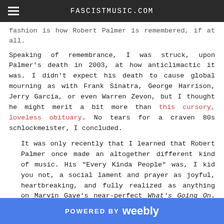FASCISTMUSIC.COM
fashion is how Robert Palmer is remembered, if at all.
Speaking of remembrance, I was struck, upon Palmer's death in 2003, at how anticlimactic it was. I didn't expect his death to cause global mourning as with Frank Sinatra, George Harrison, Jerry Garcia, or even Warren Zevon, but I thought he might merit a bit more than this cursory, loveless obituary. No tears for a craven 80s schlockmeister, I concluded.
It was only recently that I learned that Robert Palmer once made an altogether different kind of music. His "Every Kinda People" was, I kid you not, a social lament and prayer as joyful, heartbreaking, and fully realized as anything on Marvin Gaye's near-perfect What's Going On. Set to reggae-tinged soft rock, the lyrics reached out with a pure heart for a better, multicultural future. It is a stunning achievement with not an ounce of fascism.
POWERED BY weebly